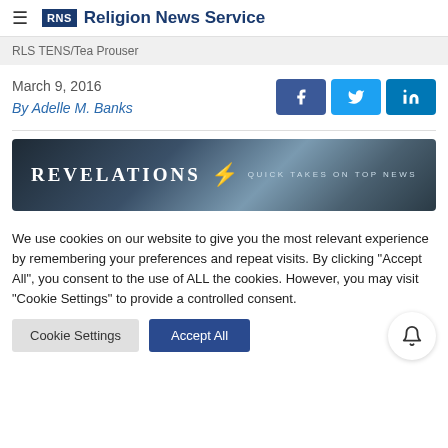RNS Religion News Service
RLS TENS/Tea Prouser
March 9, 2016
By Adelle M. Banks
[Figure (screenshot): Social share buttons for Facebook, Twitter, LinkedIn]
[Figure (illustration): Revelations: Quick Takes on Top News banner image with dark cloudy background]
We use cookies on our website to give you the most relevant experience by remembering your preferences and repeat visits. By clicking "Accept All", you consent to the use of ALL the cookies. However, you may visit "Cookie Settings" to provide a controlled consent.
Cookie Settings  Accept All